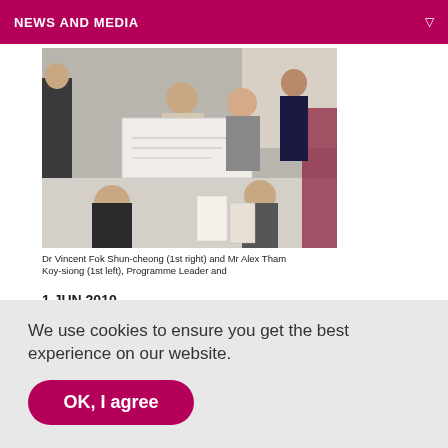NEWS AND MEDIA
[Figure (photo): Group photo of students and staff at an award ceremony, holding a large cheque]
Dr Vincent Fok Shun-cheong (1st right) and Mr Alex Tham Koy-siong (1st left), Programme Leader and
1 JUN 2010
STUDENT LIFE
Excelling in real-life competition projects
We use cookies to ensure you get the best experience on our website.
OK, I agree